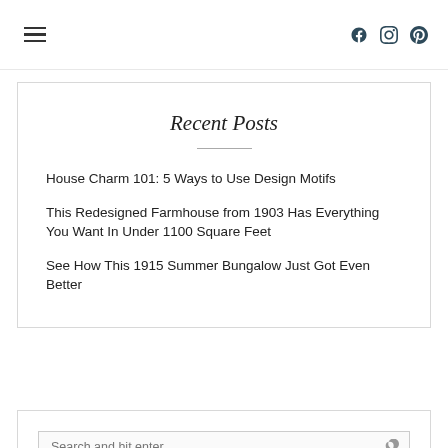Navigation header with hamburger menu and social icons (Facebook, Instagram, Pinterest)
Recent Posts
House Charm 101: 5 Ways to Use Design Motifs
This Redesigned Farmhouse from 1903 Has Everything You Want In Under 1100 Square Feet
See How This 1915 Summer Bungalow Just Got Even Better
Search and hit enter...